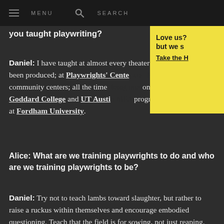MENU   SEARCH
you taught playwriting?
Daniel: I have taught at almost every theater where my work has been produced; at Playwrights' Center and New Dramatists; at community centers; all the time doing one-on-one tutorials; at Goddard College and UT Austin MFA programs; currently I am at Fordham University.
[Figure (other): Yellow promotional box with text: Love us? but we s... Take the H...]
Alice: What are we training playwrights to do and who are we training playwrights to be?
Daniel: Try not to teach lambs toward slaughter, but rather to raise a ruckus within themselves and encourage embodied questioning. Teach that the field is for sowing, not just reaping. Teach that they must walk with their play at all stages and that the art of holding a living, unfolding creative